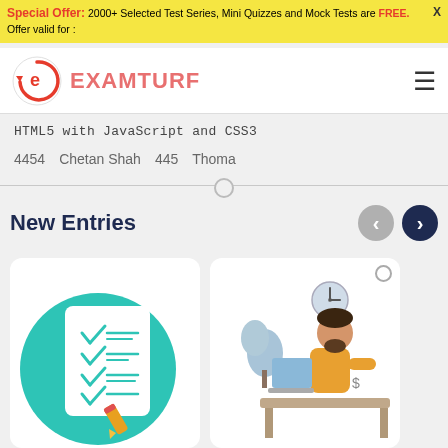Special Offer: 2000+ Selected Test Series, Mini Quizzes and Mock Tests are FREE. Offer valid for :
[Figure (logo): ExamTurf logo with circular arrow icon and pink/red text]
HTML5 with JavaScript and CSS3
4454   Chetan Shah   445   Thoma
New Entries
[Figure (illustration): Checklist illustration with teal background circle, white clipboard with checkmarks and pencil]
[Figure (illustration): Illustration of a person sitting at desk working, with a clock, tree, and laptop]